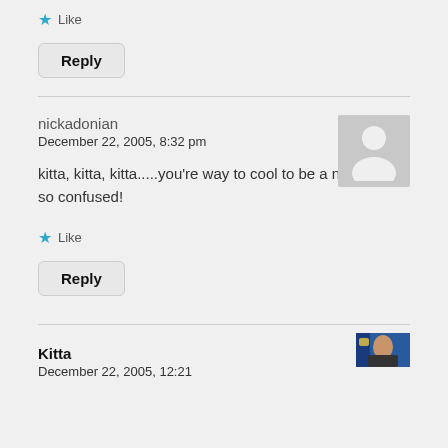★ Like
Reply
nickadonian
December 22, 2005, 8:32 pm
[Figure (illustration): Gray placeholder avatar silhouette]
kitta, kitta, kitta.....you're way to cool to be a nerd! Im so confused!
★ Like
Reply
Kitta
[Figure (photo): Small photo thumbnail of Kitta]
December 22, 2005, 12:21